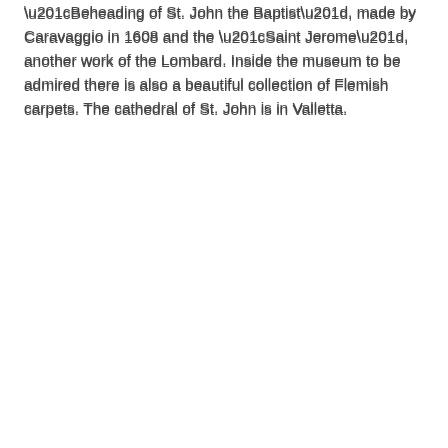“Beheading of St. John the Baptist”, made by Caravaggio in 1608 and the “Saint Jerome”, another work of the Lombard. Inside the museum to be admired there is also a beautiful collection of Flemish carpets. The cathedral of St. John is in Valletta.
The Grand Harbour One of the most beautiful sights of Malta is that of the Grand Harbour and the Three Cities seen from the “Upper Barrakka Gardens” , the manicured gardens with stunning open views in Valletta.
Grand Master’s Palace This palace, now home to the Parliament, was built by Grand Master Peter Del Monte, the work of the palace started in 1571 by Jerome Cassaro, who built it in without excessive decorations. Of great impact is the Tapestry Room, decorated with ten o’clock tapestries depicting the new world, made by Le Gobelin Blondel based on some drawings in po... room was
Privacy & Cookies Policy